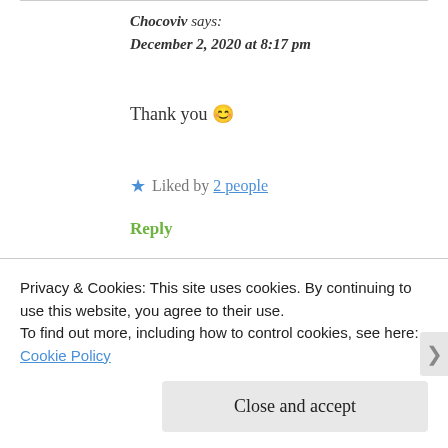Chocoviv says:
December 2, 2020 at 8:17 pm
Thank you 😊
★ Liked by 2 people
Reply
Privacy & Cookies: This site uses cookies. By continuing to use this website, you agree to their use.
To find out more, including how to control cookies, see here: Cookie Policy
Close and accept